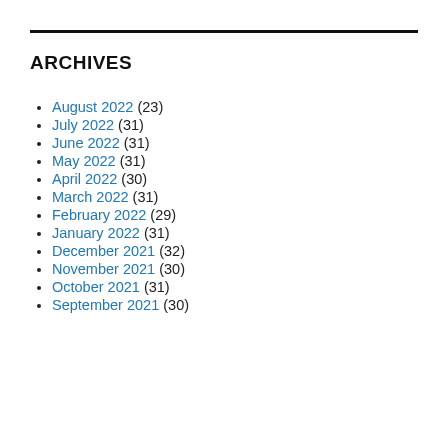ARCHIVES
August 2022 (23)
July 2022 (31)
June 2022 (31)
May 2022 (31)
April 2022 (30)
March 2022 (31)
February 2022 (29)
January 2022 (31)
December 2021 (32)
November 2021 (30)
October 2021 (31)
September 2021 (30)